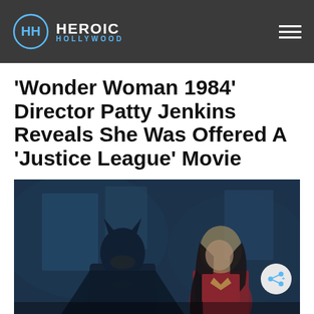Heroic Hollywood
'Wonder Woman 1984' Director Patty Jenkins Reveals She Was Offered A 'Justice League' Movie
[Figure (photo): Batman and Wonder Woman standing side by side in a scene from Justice League, both in costume, looking upward in a blue-tinted industrial interior setting.]